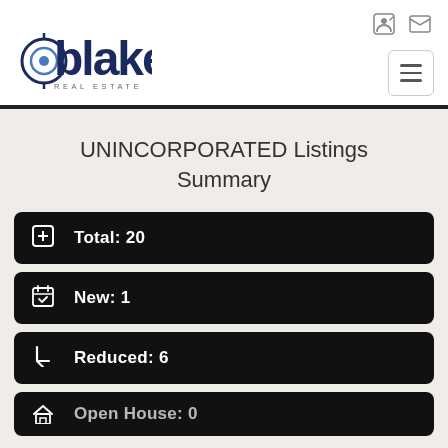[Figure (logo): Blake Real Estate logo with stylized 'b' and compass/target icon, dark navy blue text]
UNINCORPORATED Listings Summary
Total: 20
New: 1
Reduced: 6
Open House: 0